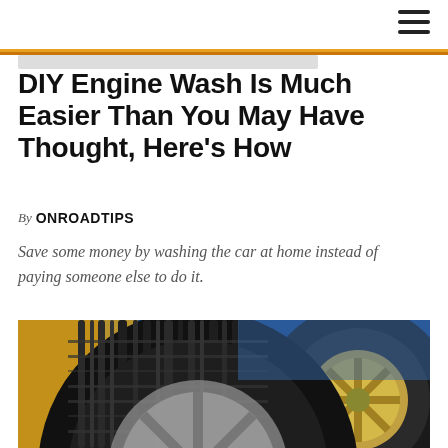ONROADTIPS
DIY Engine Wash Is Much Easier Than You May Have Thought, Here’s How
By ONROADTIPS
Save some money by washing the car at home instead of paying someone else to do it.
[Figure (photo): Close-up photograph of car tires and alloy wheel rims against a blue and yellow background]